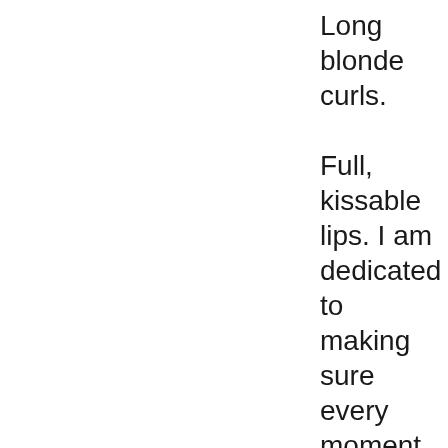Long blonde curls.

Full, kissable lips. I am dedicated to making sure every moment with me, is everything it should be and way beyond anything you'd hope for. Talk to you soon!